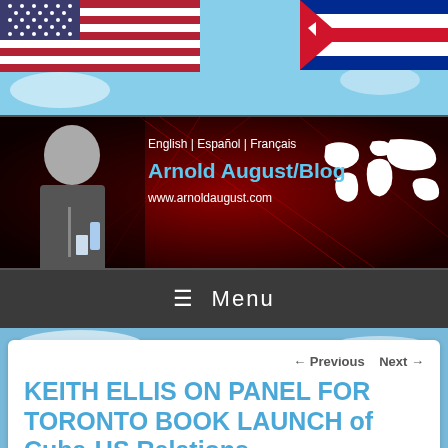[Figure (illustration): Flag banner at top showing American flag with blue field of stars on left and red/white stripes, overlaid with light blue sky background]
[Figure (illustration): Website header banner with dark red background and geometric lines, showing a man speaking at a podium on the left, text in center reading 'English | Español | Français', 'Arnold August/Blog', 'www.arnoldaugust.com', and a white world map silhouette on the right]
≡ Menu
← Previous  Next →
KEITH ELLIS ON PANEL FOR TORONTO BOOK LAUNCH of Cuba-US Relations